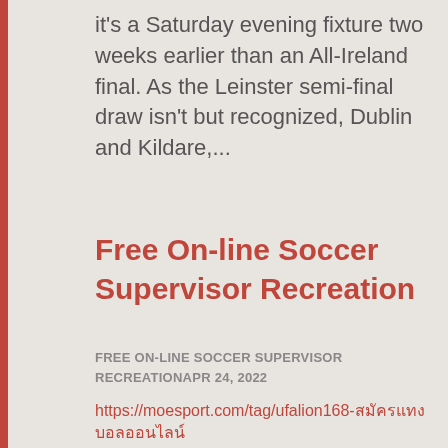it's a Saturday evening fixture two weeks earlier than an All-Ireland final. As the Leinster semi-final draw isn't but recognized, Dublin and Kildare,...
Free On-line Soccer Supervisor Recreation
FREE ON-LINE SOCCER SUPERVISOR RECREATIONAPR 24, 2022
https://moesport.com/tag/ufalion168-สมัครแทงบอลออนไลน์